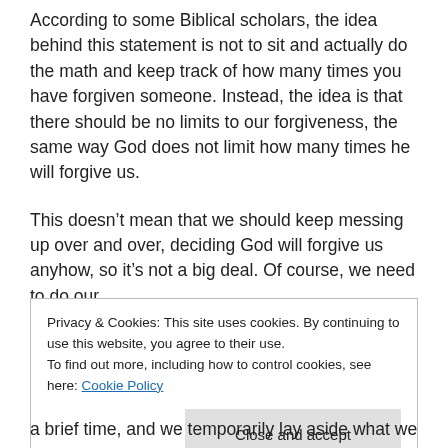According to some Biblical scholars, the idea behind this statement is not to sit and actually do the math and keep track of how many times you have forgiven someone. Instead, the idea is that there should be no limits to our forgiveness, the same way God does not limit how many times he will forgive us.
This doesn’t mean that we should keep messing up over and over, deciding God will forgive us anyhow, so it’s not a big deal. Of course, we need to do our
Privacy & Cookies: This site uses cookies. By continuing to use this website, you agree to their use.
To find out more, including how to control cookies, see here: Cookie Policy
Close and accept
a brief time, and we temporarily lay aside what we